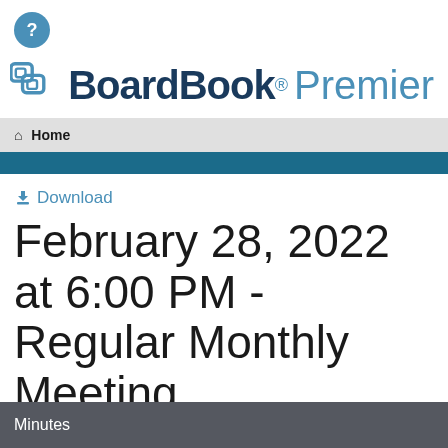[Figure (logo): Help icon — teal circle with white question mark]
[Figure (logo): BoardBook Premier logo with teal icon and text]
Home
Download
February 28, 2022 at 6:00 PM - Regular Monthly Meeting
Minutes